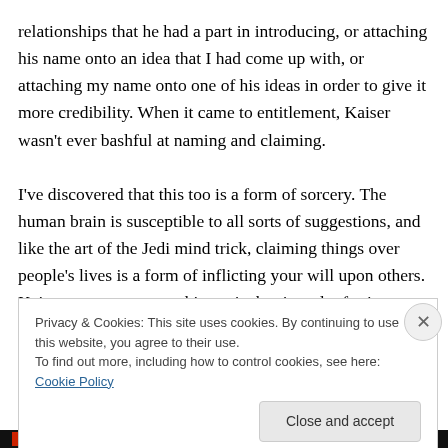relationships that he had a part in introducing, or attaching his name onto an idea that I had come up with, or attaching my name onto one of his ideas in order to give it more credibility. When it came to entitlement, Kaiser wasn't ever bashful at naming and claiming.

I've discovered that this too is a form of sorcery. The human brain is susceptible to all sorts of suggestions, and like the art of the Jedi mind trick, claiming things over people's lives is a form of inflicting your will upon others. Kaiser was a master at this tactic, but in order for it to
Privacy & Cookies: This site uses cookies. By continuing to use this website, you agree to their use.
To find out more, including how to control cookies, see here: Cookie Policy
Close and accept